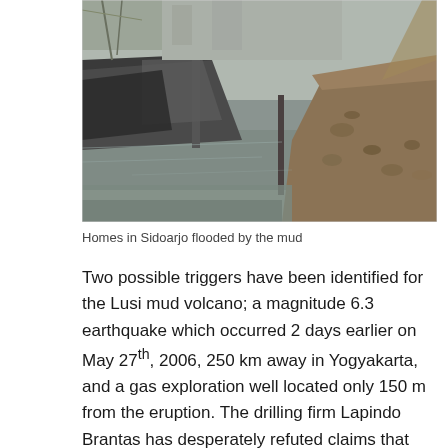[Figure (photo): Photograph of homes in Sidoarjo flooded by mud. The image shows a partially collapsed or submerged structure near a muddy waterway, with debris and a mound of earth visible on the right side.]
Homes in Sidoarjo flooded by the mud
Two possible triggers have been identified for the Lusi mud volcano; a magnitude 6.3 earthquake which occurred 2 days earlier on May 27th, 2006, 250 km away in Yogyakarta, and a gas exploration well located only 150 m from the eruption. The drilling firm Lapindo Brantas has desperately refuted claims that poor drilling practices in their well lead to the eruption, while many other independent scientists try to prove them wrong. The resulting debate has seemingly quadrupled research on mud volcanoes, while delaying the establishment of liability and